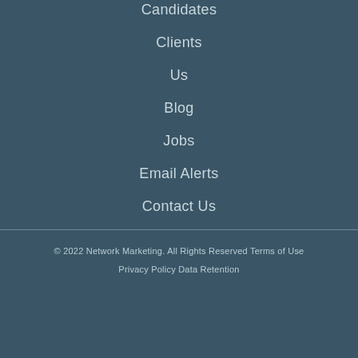Candidates
Clients
Us
Blog
Jobs
Email Alerts
Contact Us
© 2022 Network Marketing. All Rights Reserved Terms of Use Privacy Policy Data Retention